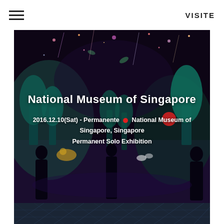VISITE
[Figure (photo): Immersive digital art installation at National Museum of Singapore — dark room with colorful projected forests, animals, falling particles, and silhouettes of visitors]
National Museum of Singapore
2016.12.10(Sat) - Permanente  National Museum of Singapore, Singapore
Permanent Solo Exhibition
[Figure (photo): Bottom strip showing a geometric glass/steel dome structure exterior, tinted blue-grey]